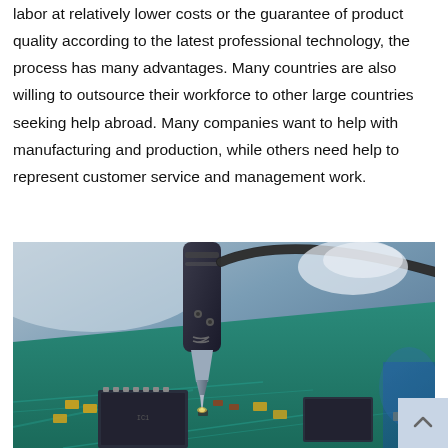labor at relatively lower costs or the guarantee of product quality according to the latest professional technology, the process has many advantages. Many countries are also willing to outsource their workforce to other large countries seeking help abroad. Many companies want to help with manufacturing and production, while others need help to represent customer service and management work.
[Figure (photo): Close-up photo of a soldering iron tip working on a green circuit board with electronic components including microchips and capacitors.]